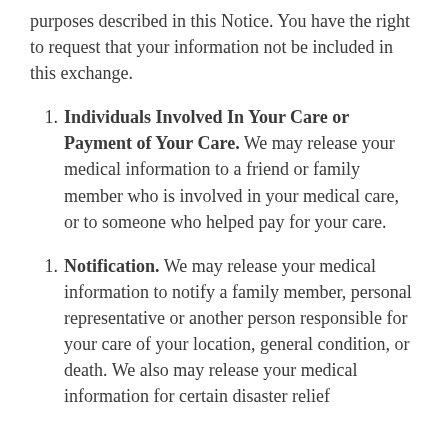purposes described in this Notice. You have the right to request that your information not be included in this exchange.
Individuals Involved In Your Care or Payment of Your Care. We may release your medical information to a friend or family member who is involved in your medical care, or to someone who helped pay for your care.
Notification. We may release your medical information to notify a family member, personal representative or another person responsible for your care of your location, general condition, or death. We also may release your medical information for certain disaster relief